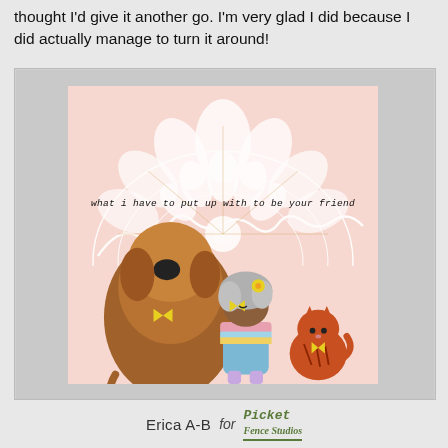thought I'd give it another go. I'm very glad I did because I did actually manage to turn it around!
[Figure (illustration): A hand-crafted greeting card featuring a large brown fluffy dog, a dark-skinned girl with gray curly hair and a yellow flower, and an orange striped cat, all sitting together. The background has a pink and white doily/mandala stencil pattern. The sentiment reads: 'what i have to put up with to be your friend'. Below the card image is the attribution 'Erica A-B for Picket Fence Studios'.]
Erica A-B   for   Picket Fence Studios